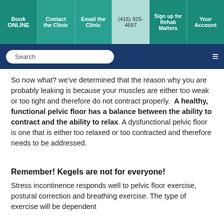Book ONLINE | Contact the Clinic | Email the Clinic | (416) 925-4687 | Sign up for Rehab Matters | Your Account
So now what? we've determined that the reason why you are probably leaking is because your muscles are either too weak or too tight and therefore do not contract properly.  A healthy, functional pelvic floor has a balance between the ability to contract and the ability to relax. A dysfunctional pelvic floor is one that is either too relaxed or too contracted and therefore needs to be addressed.
Remember! Kegels are not for everyone!
Stress incontinence responds well to pelvic floor exercise, postural correction and breathing exercise. The type of exercise will be dependent